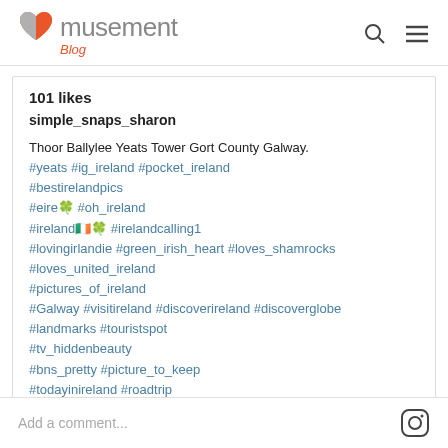musement Blog
101 likes
simple_snaps_sharon
Thoor Ballylee Yeats Tower Gort County Galway.
#yeats #ig_ireland #pocket_ireland
#bestirelandpics
#eire🍀 #oh_ireland
#ireland🇮🇪🍀 #irelandcalling1
#lovingirlandie #green_irish_heart #loves_shamrocks
#loves_united_ireland
#pictures_of_ireland
#Galway #visitireland #discoverireland #discoverglobe
#landmarks #touristspot
#tv_hiddenbeauty
#bns_pretty #picture_to_keep
#todayinireland #roadtrip
#pretty_shotz #castlesofireland
view all 6 comments
Add a comment...